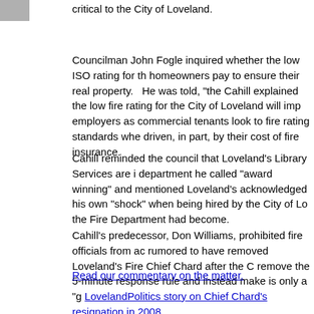critical to the City of Loveland.
Councilman John Fogle inquired whether the low ISO rating for th... homeowners pay to ensure their real property. He was told, "the Cahill explained the low fire rating for the City of Loveland will imp... employers as commercial tenants look to fire rating standards whe... driven, in part, by their cost of fire insurance.
Cahill reminded the council that Loveland's Library Services are i... department he called "award winning" and mentioned Loveland's acknowledged his own "shock" when being hired by the City of Lo... the Fire Department had become.
Cahill's predecessor, Don Williams, prohibited fire officials from ac... rumored to have removed Loveland's Fire Chief Chard after the C... remove the 5-minute response rule and instead make is only a "g... LovelandPolitics story on Chief Chard's resignation in 2008.
Read our commentary on the matter.